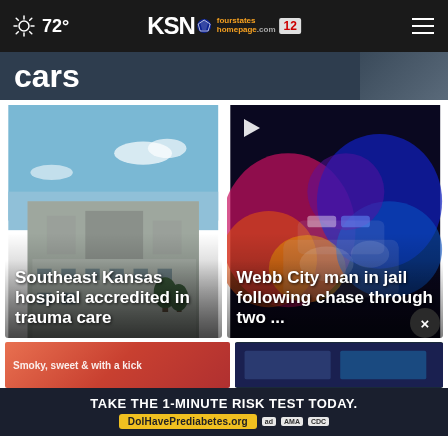72° KSN fourstates homepage.com 12
cars
[Figure (photo): Hospital building with blue sky — Southeast Kansas hospital accredited in trauma care]
Southeast Kansas hospital accredited in trauma care
[Figure (photo): Police lights thermal image — Webb City man in jail following chase through two ...]
Webb City man in jail following chase through two ...
TAKE THE 1-MINUTE RISK TEST TODAY.
DoIHavePrediabetes.org